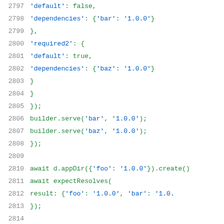Code snippet lines 2797-2817 showing JavaScript/Dart test code with servePackages, builder.serve, appDir, expectResolves, and test function calls